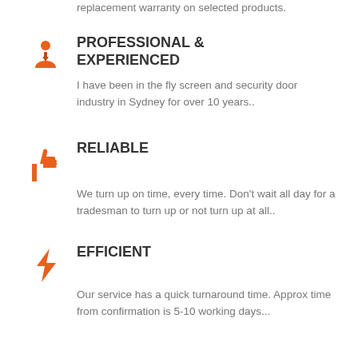replacement warranty on selected products.
PROFESSIONAL & EXPERIENCED
I have been in the fly screen and security door industry in Sydney for over 10 years..
RELIABLE
We turn up on time, every time. Don't wait all day for a tradesman to turn up or not turn up at all..
EFFICIENT
Our service has a quick turnaround time. Approx time from confirmation is 5-10 working days...